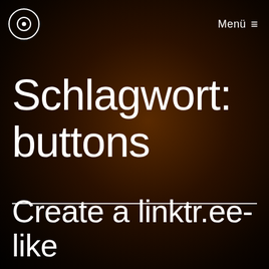helixrider logo | Menü ≡
Schlagwort: buttons
Create a linktr.ee-like